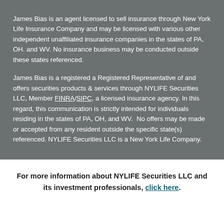James Bias is an agent licensed to sell insurance through New York Life Insurance Company and may be licensed with various other independent unaffiliated insurance companies in the states of PA, OH. and WV. No insurance business may be conducted outside these states referenced.
James Bias is a registered a Registered Representative of and offers securities products & services through NYLIFE Securities LLC, Member FINRA/SIPC, a licensed insurance agency. In this regard, this communication is strictly intended for individuals residing in the states of PA, OH, and WV.  No offers may be made or accepted from any resident outside the specific state(s) referenced. NYLIFE Securities LLC is a New York Life Company.
For more information about NYLIFE Securities LLC and its investment professionals, click here.